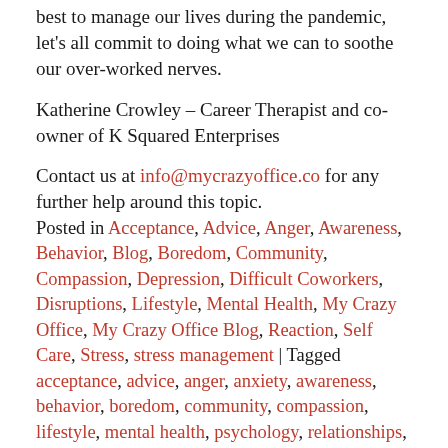best to manage our lives during the pandemic, let's all commit to doing what we can to soothe our over-worked nerves.
Katherine Crowley – Career Therapist and co-owner of K Squared Enterprises
Contact us at info@mycrazyoffice.co for any further help around this topic.
Posted in Acceptance, Advice, Anger, Awareness, Behavior, Blog, Boredom, Community, Compassion, Depression, Difficult Coworkers, Disruptions, Lifestyle, Mental Health, My Crazy Office, My Crazy Office Blog, Reaction, Self Care, Stress, stress management | Tagged acceptance, advice, anger, anxiety, awareness, behavior, boredom, community, compassion, lifestyle, mental health, psychology, relationships, self care, stress, stress management